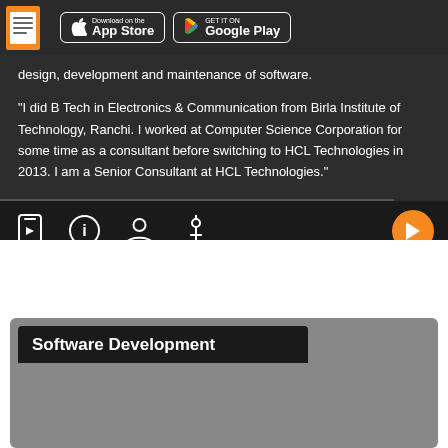Download on the App Store | GET IT ON Google Play
design, development and maintenance of software.
"I did B Tech in Electronics & Communication from Birla Institute of Technology, Ranchi. I worked at Computer Science Corporation for some time as a consultant before switching to HCL Technologies in 2013. I am a Senior Consultant at HCL Technologies."
[Figure (screenshot): Navigation bar with icons: video/phone icon, info icon, person icon, settings/tool icon, and an orange play button on the right]
Software Development